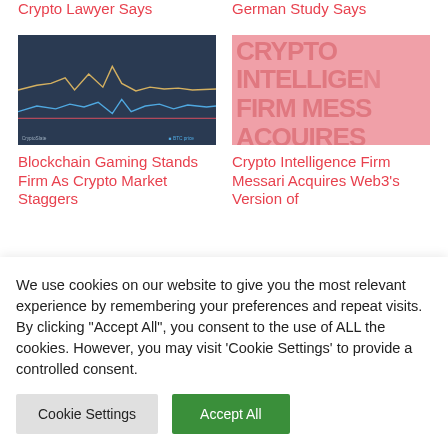Crypto Lawyer Says
German Study Says
[Figure (continuous-plot): Dark background line chart showing crypto market data with yellow and blue lines over time]
[Figure (illustration): Pink background image with large text overlay reading CRYPTO INTELLIGENCE FIRM MESS ACQUIRES]
Blockchain Gaming Stands Firm As Crypto Market Staggers
Crypto Intelligence Firm Messari Acquires Web3's Version of
We use cookies on our website to give you the most relevant experience by remembering your preferences and repeat visits. By clicking "Accept All", you consent to the use of ALL the cookies. However, you may visit 'Cookie Settings' to provide a controlled consent.
Cookie Settings
Accept All